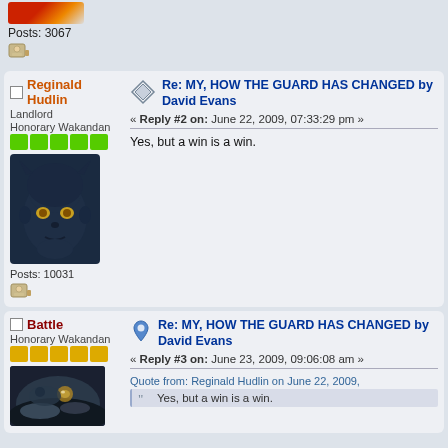Posts: 3067
Reginald Hudlin
Landlord
Honorary Wakandan
Posts: 10031
Re: MY, HOW THE GUARD HAS CHANGED by David Evans
« Reply #2 on: June 22, 2009, 07:33:29 pm »
Yes, but a win is a win.
Battle
Honorary Wakandan
Re: MY, HOW THE GUARD HAS CHANGED by David Evans
« Reply #3 on: June 23, 2009, 09:06:08 am »
Quote from: Reginald Hudlin on June 22, 2009,
Yes, but a win is a win.